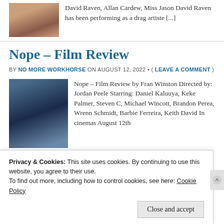[Figure (photo): Small photo of a drag artiste performer]
David Raven, Allan Cardew, Miss Jason David Raven has been performing as a drag artiste [...]
Nope – Film Review
BY NO MORE WORKHORSE ON AUGUST 12, 2022 • ( LEAVE A COMMENT )
[Figure (photo): Film still from Nope showing a man in a cap]
Nope – Film Review by Fran Winston Directed by: Jordan Peele Starring: Daniel Kaluuya, Keke Palmer, Steven C, Michael Wincott, Brandon Perea, Wrenn Schmidt, Barbie Ferreira, Keith David In cinemas August 12th [...]
Privacy & Cookies: This site uses cookies. By continuing to use this website, you agree to their use.
To find out more, including how to control cookies, see here: Cookie Policy
Close and accept